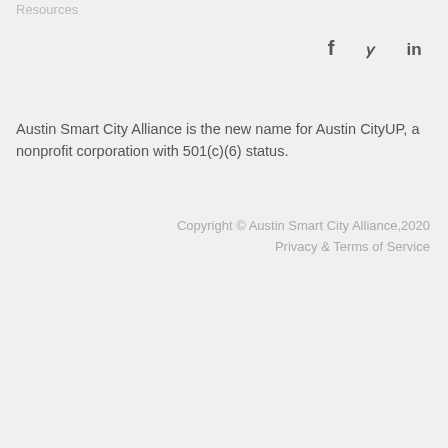Resources
[Figure (other): Social media icons: Facebook (f), Twitter (bird), LinkedIn (in)]
Austin Smart City Alliance is the new name for Austin CityUP, a nonprofit corporation with 501(c)(6) status.
Copyright © Austin Smart City Alliance,2020
Privacy & Terms of Service